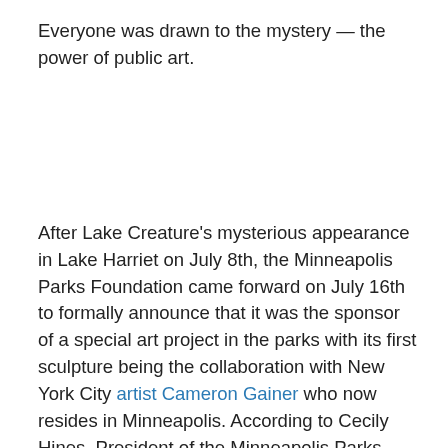Everyone was drawn to the mystery — the power of public art.
After Lake Creature's mysterious appearance in Lake Harriet on July 8th, the Minneapolis Parks Foundation came forward on July 16th to formally announce that it was the sponsor of a special art project in the parks with its first sculpture being the collaboration with New York City artist Cameron Gainer who now resides in Minneapolis. According to Cecily Hines, President of the Minneapolis Parks Foundation: